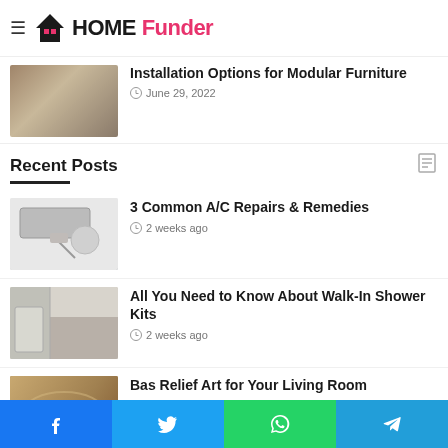HOME Funder
Installation Options for Modular Furniture
June 29, 2022
Recent Posts
3 Common A/C Repairs & Remedies
2 weeks ago
All You Need to Know About Walk-In Shower Kits
2 weeks ago
Bas Relief Art for Your Living Room